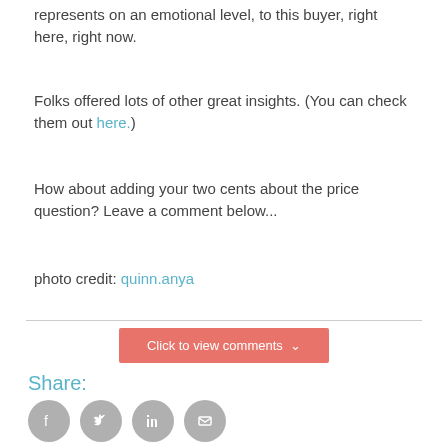represents on an emotional level, to this buyer, right here, right now.
Folks offered lots of other great insights. (You can check them out here.)
How about adding your two cents about the price question? Leave a comment below...
photo credit: quinn.anya
[Figure (other): Button labeled 'Click to view comments' with a chevron/arrow icon, salmon/coral colored background]
Share:
[Figure (other): Row of four social sharing icon circles (Facebook, Twitter, LinkedIn, Email) in gray]